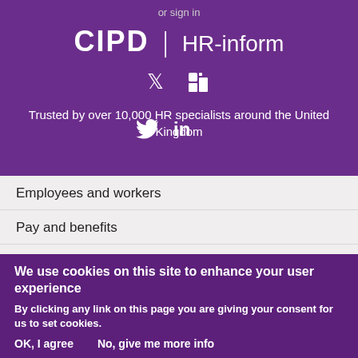or sign in
[Figure (logo): CIPD | HR-inform logo in white text on purple background]
[Figure (illustration): Twitter and LinkedIn social media icons in white]
Trusted by over 10,000 HR specialists around the United Kingdom
Employees and workers
Pay and benefits
Equality
Business principles
Contract T & Cs
Recruitment
Legislative changes
Family friendly rights
We use cookies on this site to enhance your user experience
By clicking any link on this page you are giving your consent for us to set cookies.
OK, I agree    No, give me more info